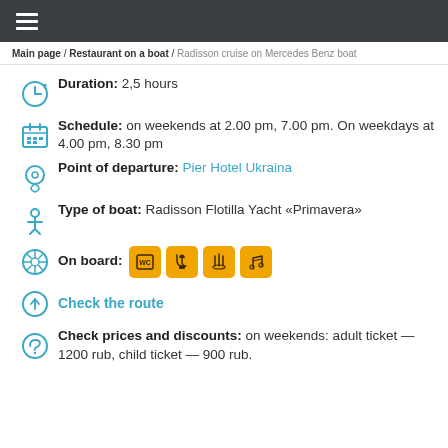Menu navigation bar
Main page / Restaurant on a boat / Radisson cruise on Mercedes Benz boat
Duration: 2,5 hours
Schedule: on weekends at 2.00 pm, 7.00 pm. On weekdays at 4.00 pm, 8.30 pm
Point of departure: Pier Hotel Ukraina
Type of boat: Radisson Flotilla Yacht «Primavera»
On board: [WC icon] [bar icon] [restaurant icon] [music icon]
Check the route
Check prices and discounts: on weekends: adult ticket — 1200 rub, child ticket — 900 rub.